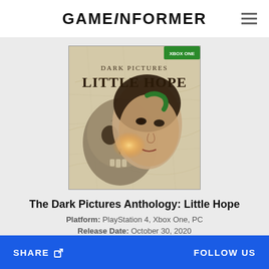GAMEINFORMER
[Figure (illustration): Game cover art for The Dark Pictures Anthology: Little Hope — shows a skull overlaid with a woman's face, map background, with green Xbox One sticker in corner. Title text reads 'DARK PICTURES LITTLE HOPE'.]
The Dark Pictures Anthology: Little Hope
Platform: PlayStation 4, Xbox One, PC
Release Date: October 30, 2020
SHARE   FOLLOW US